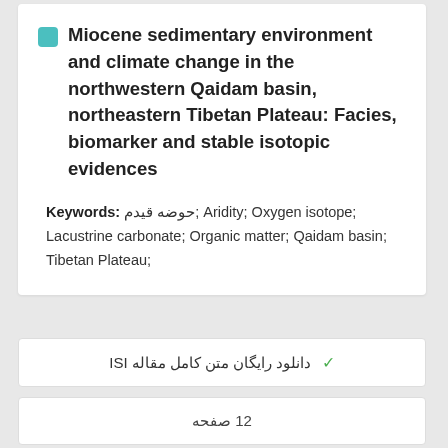Miocene sedimentary environment and climate change in the northwestern Qaidam basin, northeastern Tibetan Plateau: Facies, biomarker and stable isotopic evidences
Keywords: حوضه قیدم; Aridity; Oxygen isotope; Lacustrine carbonate; Organic matter; Qaidam basin; Tibetan Plateau;
✓ دانلود رایگان متن کامل مقاله ISI
12 صفحه